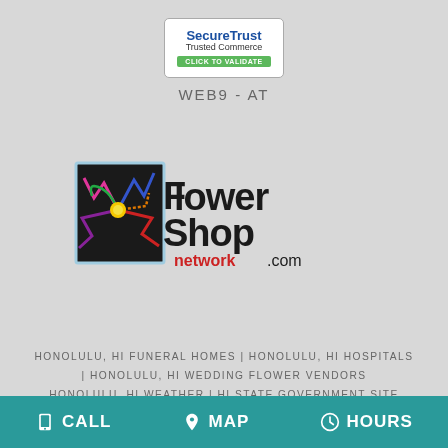[Figure (logo): SecureTrust Trusted Commerce badge with CLICK TO VALIDATE green button]
WEB9-AT
[Figure (logo): Flower Shop Network .com logo with colorful flower graphic]
HONOLULU, HI FUNERAL HOMES | HONOLULU, HI HOSPITALS | HONOLULU, HI WEDDING FLOWER VENDORS
HONOLULU, HI WEATHER | HI STATE GOVERNMENT SITE
PRIVACY POLICY | TERMS OF PURCHASE
CALL  MAP  HOURS